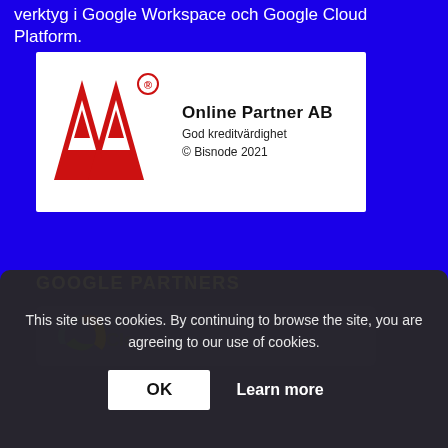verktyg i Google Workspace och Google Cloud Platform.
[Figure (logo): AA Online Partner AB credit rating badge. Red AA logo on white background with text: Online Partner AB, God kreditvärdighet, © Bisnode 2021]
GOOGLE PARTNERS
[Figure (screenshot): Partial Google Partners badge logo visible behind cookie overlay]
This site uses cookies. By continuing to browse the site, you are agreeing to our use of cookies.
OK   Learn more